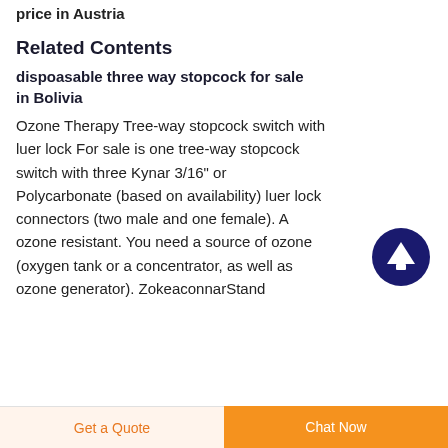price in Austria
Related Contents
dispoasable three way stopcock for sale in Bolivia
Ozone Therapy Tree-way stopcock switch with luer lock For sale is one tree-way stopcock switch with three Kynar 3/16" or Polycarbonate (based on availability) luer lock connectors (two male and one female). A ozone resistant. You need a source of ozone (oxygen tank or a concentrator, as well as ozone generator). ZokeaconnarStand
[Figure (illustration): Dark blue circle button with white upward arrow icon for scroll to top]
Get a Quote  Chat Now